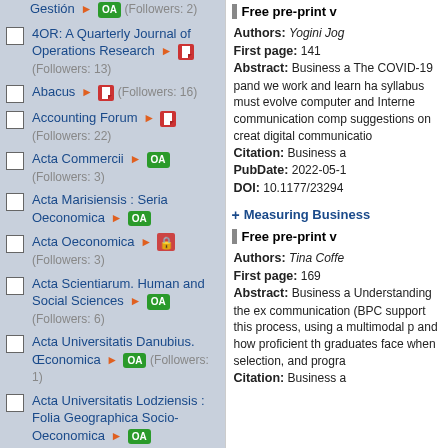4OR: A Quarterly Journal of Operations Research (Followers: 13)
Abacus (Followers: 16)
Accounting Forum (Followers: 22)
Acta Commercii (Followers: 3)
Acta Marisiensis : Seria Oeconomica
Acta Oeconomica (Followers: 3)
Acta Scientiarum. Human and Social Sciences (Followers: 6)
Acta Universitatis Danubius. Œconomica (Followers: 1)
Acta Universitatis Lodziensis : Folia Geographica Socio-Oeconomica (Followers: 1)
Free pre-print v
Authors: Yogini Jog
First page: 141
Abstract: Business a The COVID-19 pand we work and learn ha syllabus must evolve computer and Interne communication comp suggestions on creat digital communicatio
Citation: Business a
PubDate: 2022-05-1
DOI: 10.1177/23294
Measuring Business
Free pre-print v
Authors: Tina Coffe
First page: 169
Abstract: Business a Understanding the ex communication (BPC support this process, using a multimodal p and how proficient th graduates face when selection, and progra
Citation: Business a